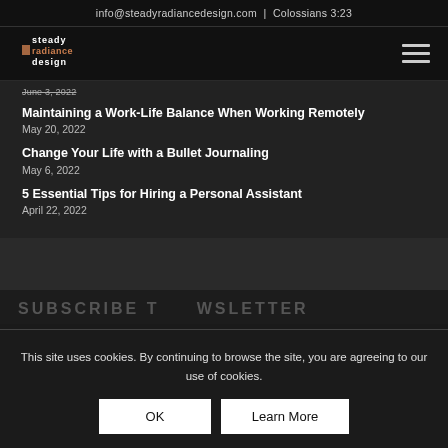info@steadyradiancedesign.com  |  Colossians 3:23
[Figure (logo): Steady Radiance Design logo in white and orange/terracotta text on dark background]
June 3, 2022
Maintaining a Work-Life Balance When Working Remotely
May 20, 2022
Change Your Life with a Bullet Journaling
May 6, 2022
5 Essential Tips for Hiring a Personal Assistant
April 22, 2022
SUBSCRIBE T     WSLETTER
This site uses cookies. By continuing to browse the site, you are agreeing to our use of cookies.